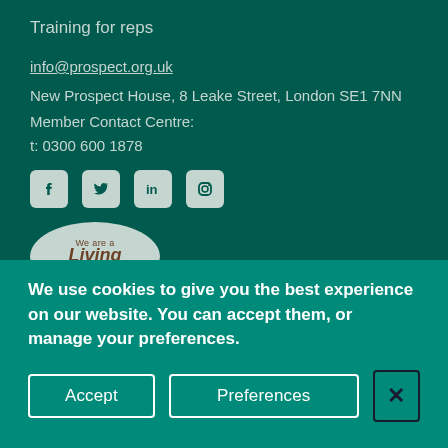Training for reps
info@prospect.org.uk
New Prospect House, 8 Leake Street, London SE1 7NN
Member Contact Centre:
t: 0300 600 1878
[Figure (illustration): Social media icons: Facebook, Twitter, LinkedIn, Instagram]
[Figure (logo): We are a Living Wage employer badge]
We use cookies to give you the best experience on our website. You can accept them, or manage your preferences.
Accept | Preferences | Close (X)